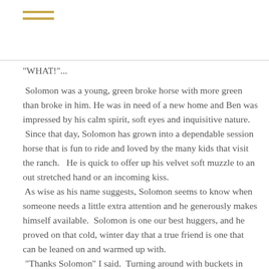≡
"WHAT!"...
Solomon was a young, green broke horse with more green than broke in him. He was in need of a new home and Ben was impressed by his calm spirit, soft eyes and inquisitive nature.  Since that day, Solomon has grown into a dependable session horse that is fun to ride and loved by the many kids that visit the ranch.   He is quick to offer up his velvet soft muzzle to an out stretched hand or an incoming kiss.
 As wise as his name suggests, Solomon seems to know when someone needs a little extra attention and he generously makes himself available.  Solomon is one our best huggers, and he proved on that cold, winter day that a true friend is one that can be leaned on and warmed up with.
 "Thanks Solomon" I said.  Turning around with buckets in hand and a smile on my face, I climbed through the fence wires and into the next paddock.  Walking towards the last two buckets, I